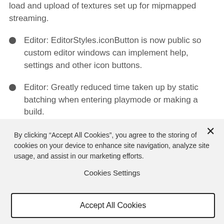load and upload of textures set up for mipmapped streaming.
Editor: EditorStyles.iconButton is now public so custom editor windows can implement help, settings and other icon buttons.
Editor: Greatly reduced time taken up by static batching when entering playmode or making a build.
By clicking “Accept All Cookies”, you agree to the storing of cookies on your device to enhance site navigation, analyze site usage, and assist in our marketing efforts.
Cookies Settings
Accept All Cookies